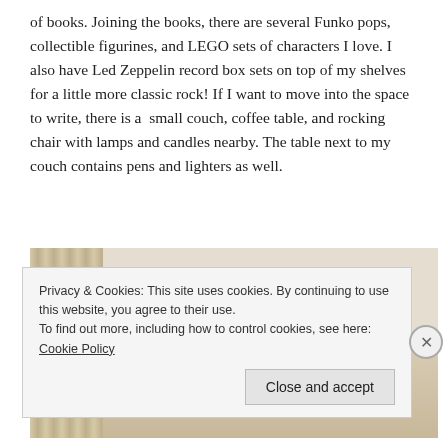of books. Joining the books, there are several Funko pops, collectible figurines, and LEGO sets of characters I love. I also have Led Zeppelin record box sets on top of my shelves for a little more classic rock! If I want to move into the space to write, there is a  small couch, coffee table, and rocking chair with lamps and candles nearby. The table next to my couch contains pens and lighters as well.
[Figure (photo): A room photo showing a white ceiling with a curved edge and curtains on the left, with colorful box sets or collectibles arranged on a shelf visible in the middle distance.]
Privacy & Cookies: This site uses cookies. By continuing to use this website, you agree to their use.
To find out more, including how to control cookies, see here: Cookie Policy